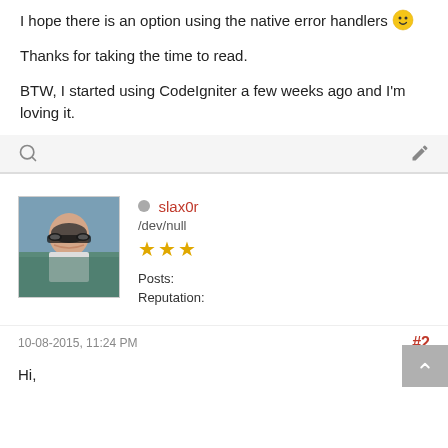I hope there is an option using the native error handlers 😊
Thanks for taking the time to read.
BTW, I started using CodeIgniter a few weeks ago and I'm loving it.
[Figure (photo): Avatar photo of user slax0r, a young man wearing sunglasses outdoors]
slax0r
/dev/null
★★★
Posts: 57
Reputation: 6
10-08-2015, 11:24 PM   #2
Hi,